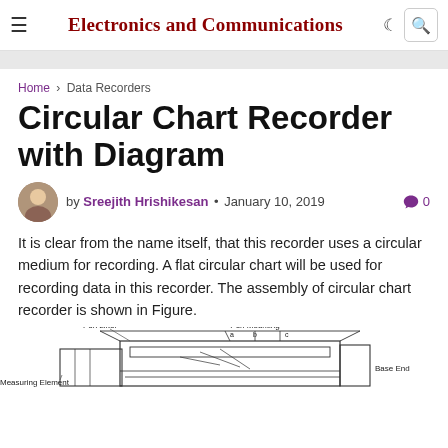Electronics and Communications
Home › Data Recorders
Circular Chart Recorder with Diagram
by Sreejith Hrishikesan • January 10, 2019   0
It is clear from the name itself, that this recorder uses a circular medium for recording. A flat circular chart will be used for recording data in this recorder. The assembly of circular chart recorder is shown in Figure.
[Figure (engineering-diagram): Diagram of circular chart recorder assembly showing Pen Lifter, Pen Mounting (a, b, c), Measuring Element, and Base End labels on a mechanical assembly sketch.]